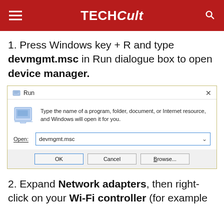TECHCult
1. Press Windows key + R and type devmgmt.msc in Run dialogue box to open device manager.
[Figure (screenshot): Windows Run dialog box with 'devmgmt.msc' typed in the Open field, showing OK, Cancel, and Browse buttons.]
2. Expand Network adapters, then right-click on your Wi-Fi controller (for example